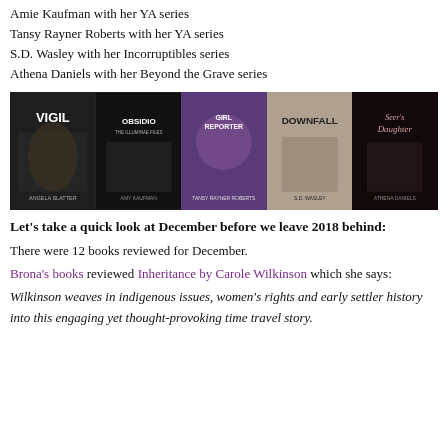Amie Kaufman with her YA series
Tansy Rayner Roberts with her YA series
S.D. Wasley with her Incorruptibles series
Athena Daniels with her Beyond the Grave series
[Figure (photo): Five book covers displayed side by side: VIGIL by Angela Slatter, OBSIDIO (The Illuminae Files), Girl Reporter by Tansy Rayner Roberts, DOWNFALL by S.D. Wasley, and Seer's Daughter by Athena Daniels]
Let’s take a quick look at December before we leave 2018 behind:
There were 12 books reviewed for December.
Brona’s books reviewed Inheritance by Carole Wilkinson which she says:
Wilkinson weaves in indigenous issues, women’s rights and early settler history into this engaging yet thought-provoking time travel story.